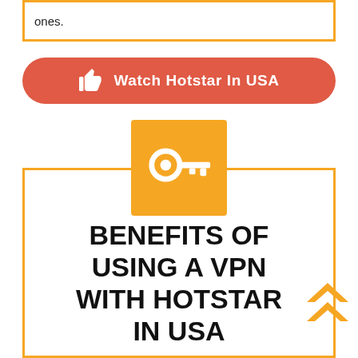ones.
[Figure (infographic): Red/coral rounded rectangle button with thumbs-up icon and text 'Watch Hotstar In USA']
[Figure (infographic): Orange square icon containing a white VPN key symbol, overlaid on an orange-bordered box]
BENEFITS OF USING A VPN WITH HOTSTAR IN USA
[Figure (infographic): Orange double chevron/arrow pointing upward, positioned at the bottom right]